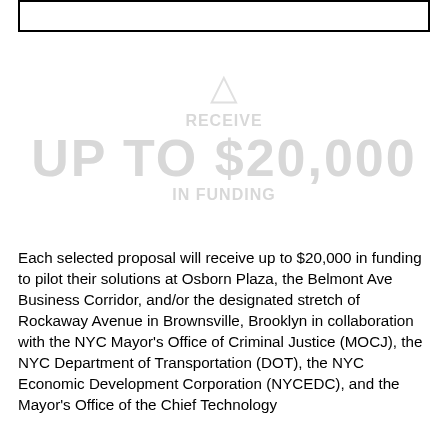[Figure (other): Empty bordered rectangle at top of page, likely a placeholder image or logo box]
[Figure (infographic): Watermark-style graphic showing 'RECEIVE UP TO $20,000 IN FUNDING' in large light grey text with an icon above]
Each selected proposal will receive up to $20,000 in funding to pilot their solutions at Osborn Plaza, the Belmont Ave Business Corridor, and/or the designated stretch of Rockaway Avenue in Brownsville, Brooklyn in collaboration with the NYC Mayor's Office of Criminal Justice (MOCJ), the NYC Department of Transportation (DOT), the NYC Economic Development Corporation (NYCEDC), and the Mayor's Office of the Chief Technology...